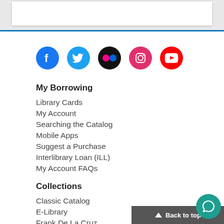[Figure (other): Social media icons row: Facebook (blue), Twitter (light blue), Flickr (black), Instagram (pink/magenta), YouTube (red)]
My Borrowing
Library Cards
My Account
Searching the Catalog
Mobile Apps
Suggest a Purchase
Interlibrary Loan (ILL)
My Account FAQs
Collections
Classic Catalog
E-Library
Frank De La Cruz Collection
Back to top